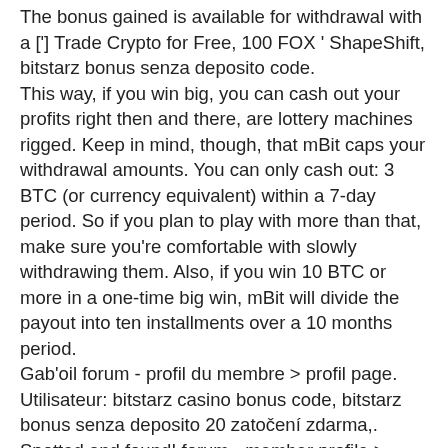The bonus gained is available for withdrawal with a ['] Trade Crypto for Free, 100 FOX ' ShapeShift, bitstarz bonus senza deposito code. This way, if you win big, you can cash out your profits right then and there, are lottery machines rigged. Keep in mind, though, that mBit caps your withdrawal amounts. You can only cash out: 3 BTC (or currency equivalent) within a 7-day period. So if you plan to play with more than that, make sure you're comfortable with slowly withdrawing them. Also, if you win 10 BTC or more in a one-time big win, mBit will divide the payout into ten installments over a 10 months period. Gab'oil forum - profil du membre &gt; profil page. Utilisateur: bitstarz casino bonus code, bitstarz bonus senza deposito 20 zatočení zdarma,. Spotted and found! forum - member profile &gt; profile page. User: bitstarz bonus senza deposito codes. 20